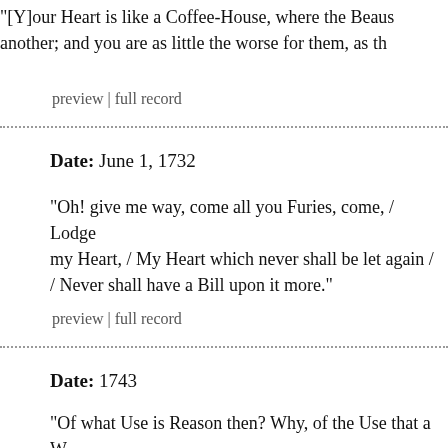"[Y]our Heart is like a Coffee-House, where the Beaus... another; and you are as little the worse for them, as th...
preview | full record
Date: June 1, 1732
"Oh! give me way, come all you Furies, come, / Lodge... my Heart, / My Heart which never shall be let again / ... / Never shall have a Bill upon it more."
preview | full record
Date: 1743
"Of what Use is Reason then? Why, of the Use that a W... to let him see the Horrors he is confined in; but lends...